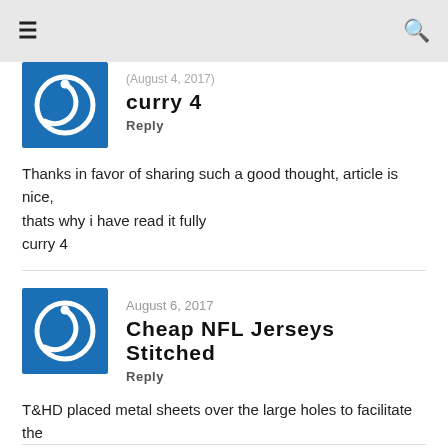≡  🔍
curry 4
Reply
Thanks in favor of sharing such a good thought, article is nice, thats why i have read it fully
curry 4
August 6, 2017
Cheap NFL Jerseys Stitched
Reply
T&HD placed metal sheets over the large holes to facilitate the safe passage of vehicles.
Cheap NFL Jerseys Stitched